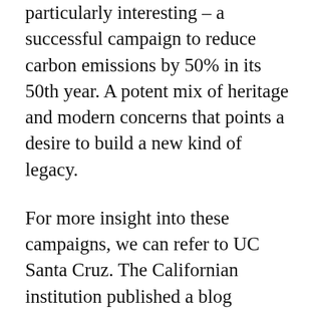particularly interesting – a successful campaign to reduce carbon emissions by 50% in its 50th year. A potent mix of heritage and modern concerns that points a desire to build a new kind of legacy.
For more insight into these campaigns, we can refer to UC Santa Cruz. The Californian institution published a blog looking at its plans to mark its 50th year. These extended to a specialised website, a series of articles, and even a music video! The goal was to reach 17 million people, with the goal of enhancing the university's reputation. Here we can really see a sense of trying to make current and future